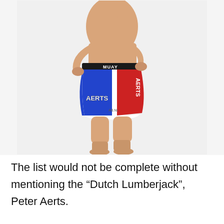[Figure (photo): A male fighter standing with hands on hips, wearing blue, white, and red Muay Thai boxing shorts with 'AERTS' written on them. He is barefoot and shirtless, photographed against a white background.]
The list would not be complete without mentioning the “Dutch Lumberjack”, Peter Aerts.